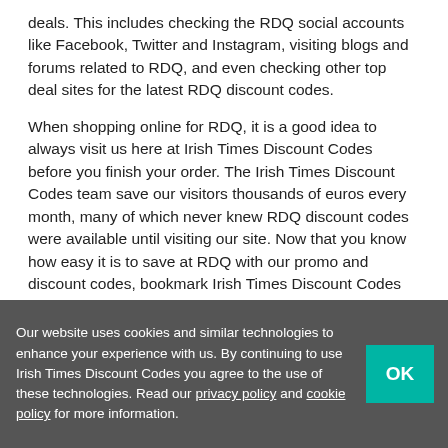deals. This includes checking the RDQ social accounts like Facebook, Twitter and Instagram, visiting blogs and forums related to RDQ, and even checking other top deal sites for the latest RDQ discount codes.
When shopping online for RDQ, it is a good idea to always visit us here at Irish Times Discount Codes before you finish your order. The Irish Times Discount Codes team save our visitors thousands of euros every month, many of which never knew RDQ discount codes were available until visiting our site. Now that you know how easy it is to save at RDQ with our promo and discount codes, bookmark Irish Times Discount Codes and always check us out before you checkout.
If you are looking for more than just RDQ discount codes, here at Irish Times Discount Codes we provide vouchers and discounts for thousands of other popular brands and stores.
Our website uses cookies and similar technologies to enhance your experience with us. By continuing to use Irish Times Discount Codes you agree to the use of these technologies. Read our privacy policy and cookie policy for more information.